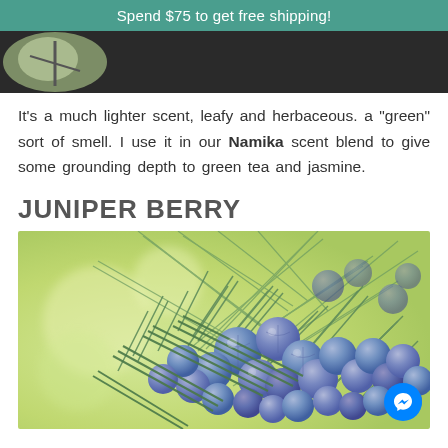Spend $75 to get free shipping!
It's a much lighter scent, leafy and herbaceous. a "green" sort of smell.  I use it in our Namika scent blend to give some grounding depth to green tea and jasmine.
JUNIPER BERRY
[Figure (photo): Close-up photo of juniper berry branches with round blue-purple berries and green needle-like leaves, against a blurred green/yellow background.]